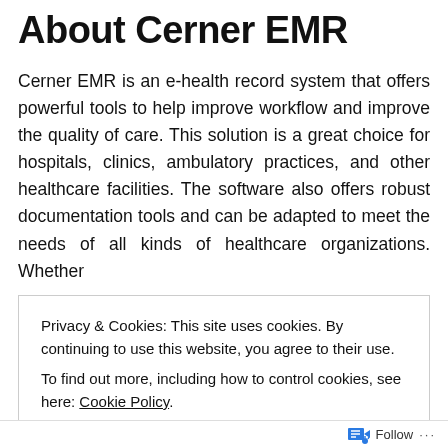About Cerner EMR
Cerner EMR is an e-health record system that offers powerful tools to help improve workflow and improve the quality of care. This solution is a great choice for hospitals, clinics, ambulatory practices, and other healthcare facilities. The software also offers robust documentation tools and can be adapted to meet the needs of all kinds of healthcare organizations. Whether
Privacy & Cookies: This site uses cookies. By continuing to use this website, you agree to their use.
To find out more, including how to control cookies, see here: Cookie Policy
Close and accept
Follow ...